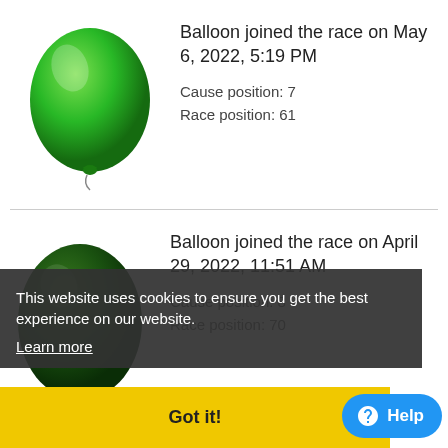[Figure (illustration): Green balloon illustration]
Balloon joined the race on May 6, 2022, 5:19 PM
Cause position: 7
Race position: 61
[Figure (illustration): Dark green balloon illustration (partially obscured by cookie banner)]
Balloon joined the race on April 29, 2022, 11:51 AM
Cause position: 8
Race position: 70
This website uses cookies to ensure you get the best experience on our website. Learn more
Got it!